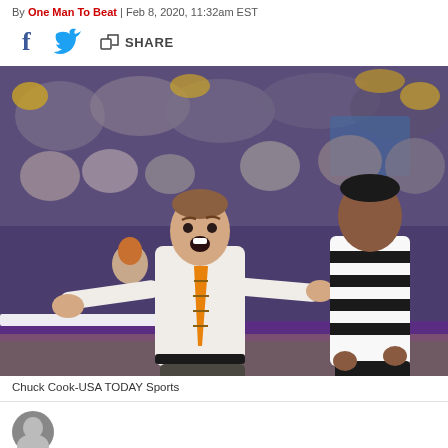By One Man To Beat | Feb 8, 2020, 11:32am EST
[Figure (other): Social share bar with Facebook, Twitter, and Share icons]
[Figure (photo): Basketball coach in white shirt and orange striped tie, arms outstretched, reacting expressively on the sideline next to a referee in black-and-white striped shirt. Crowd visible in background with purple and gold colors.]
Chuck Cook-USA TODAY Sports
[Figure (photo): Partial avatar/profile photo at bottom of page]